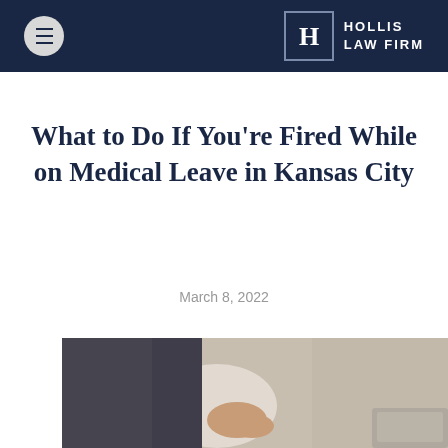HOLLIS LAW FIRM
What to Do If You're Fired While on Medical Leave in Kansas City
March 8, 2022
[Figure (photo): A pregnant woman in a dark blazer sitting at a desk with a laptop, photographed from the midsection]